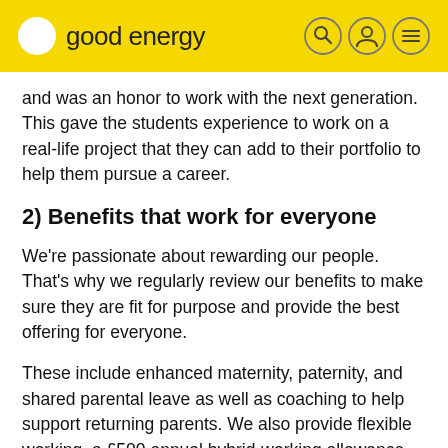good energy
and was an honor to work with the next generation. This gave the students experience to work on a real-life project that they can add to their portfolio to help them pursue a career.
2) Benefits that work for everyone
We're passionate about rewarding our people. That's why we regularly review our benefits to make sure they are fit for purpose and provide the best offering for everyone.
These include enhanced maternity, paternity, and shared parental leave as well as coaching to help support returning parents. We also provide flexible working, a £500 annual hybrid-working allowance, supporting with the cost of working from home and